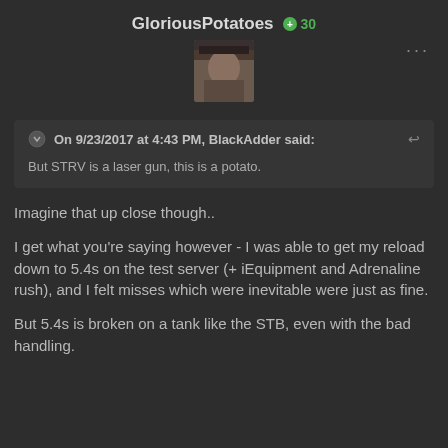GloriousPotatoes  +30
[Figure (photo): User avatar photo showing a person, brown/tan tones]
On 9/23/2017 at 4:43 PM, BlackAdder said:
But STRV is a laser gun, this is a potato.
Imagine that up close though..
I get what you're saying however - I was able to get my reload down to 5.4s on the test server (+ iEquipment and Adrenaline rush), and I felt misses which were inevitable were just as fine.
But 5.4s is broken on a tank like the STB, even with the bad handling.